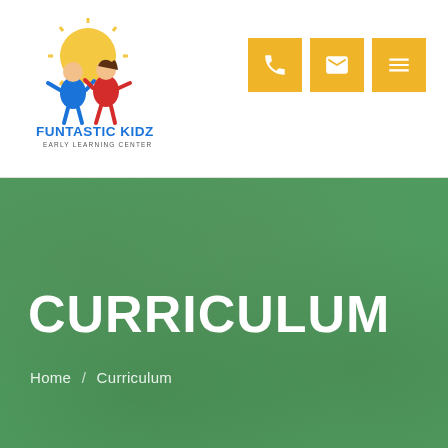[Figure (logo): Funtastic Kidz Early Learning Center logo with colorful cartoon children figures and sun, red and blue text]
[Figure (infographic): Three golden/yellow square nav icon buttons: phone, envelope/email, and hamburger menu]
[Figure (photo): Green textured banner background]
CURRICULUM
Home / Curriculum